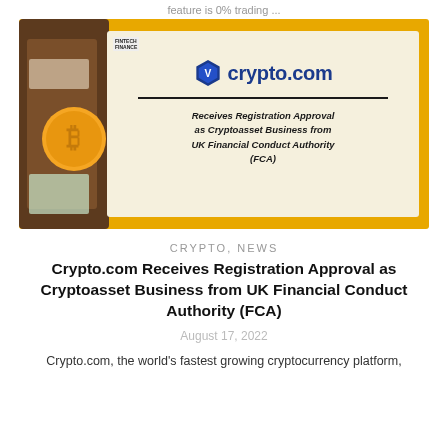feature is 0% trading ...
[Figure (photo): Crypto.com promotional image on yellow/gold background showing the crypto.com logo with hexagon shield icon, a divider line, and text 'Receives Registration Approval as Cryptoasset Business from UK Financial Conduct Authority (FCA)'. Background shows bitcoin coins and a wallet.]
CRYPTO, NEWS
Crypto.com Receives Registration Approval as Cryptoasset Business from UK Financial Conduct Authority (FCA)
August 17, 2022
Crypto.com, the world's fastest growing cryptocurrency platform,